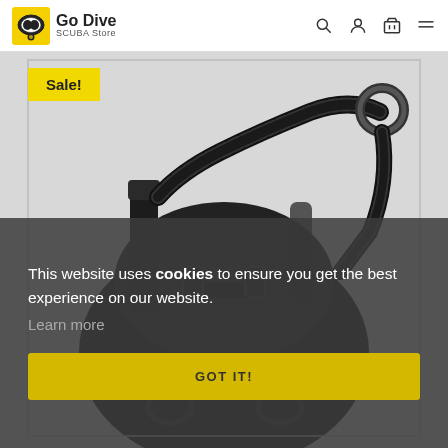Go Dive SCUBA Store
[Figure (photo): Close-up photo of a black SCUBA diving BCD (buoyancy compensator device) showing straps, corrugated hose, metal ring, and harness hardware against a light grey background. A 'Sale!' badge in yellow is overlaid at the top left.]
This website uses cookies to ensure you get the best experience on our website. Learn more
GOT IT!